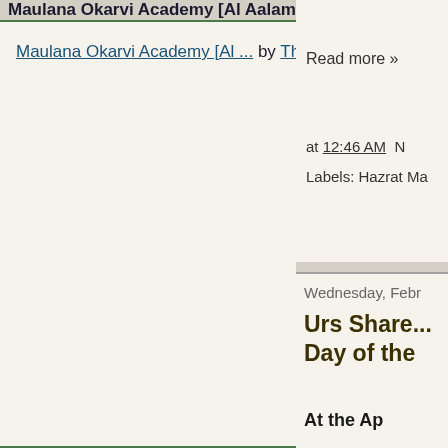Maulana Okarvi Academy [Al Aalami]
Maulana Okarvi Academy [Al ... by The OKARVI'S on Scribd
Read more »
at 12:46 AM  N
Labels: Hazrat Ma
Wednesday, Febr
Urs Share... Day of the
At the Ap